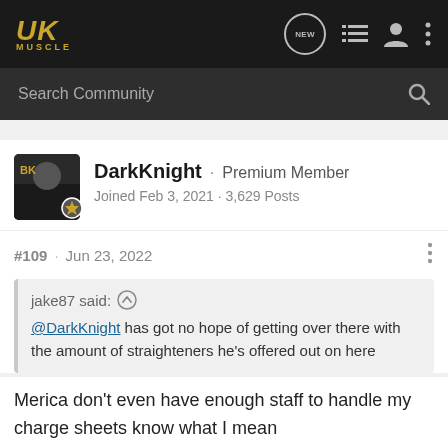UKMuscle – navigation bar with logo, NEW button, list icon, user icon, menu icon
Search Community
DarkKnight · Premium Member
Joined Feb 3, 2021 · 3,629 Posts
#109 · Jun 23, 2022
jake87 said: ↑
@DarkKnight has got no hope of getting over there with the amount of straighteners he's offered out on here
Merica don't even have enough staff to handle my charge sheets know what I mean